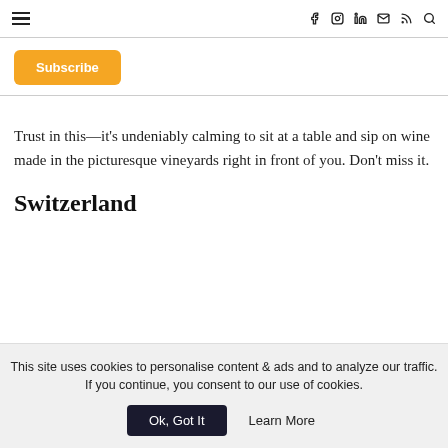≡  f  [instagram]  in  [mail]  [rss]  [search]
Subscribe
Trust in this—it's undeniably calming to sit at a table and sip on wine made in the picturesque vineyards right in front of you. Don't miss it.
Switzerland
This site uses cookies to personalise content & ads and to analyze our traffic. If you continue, you consent to our use of cookies.